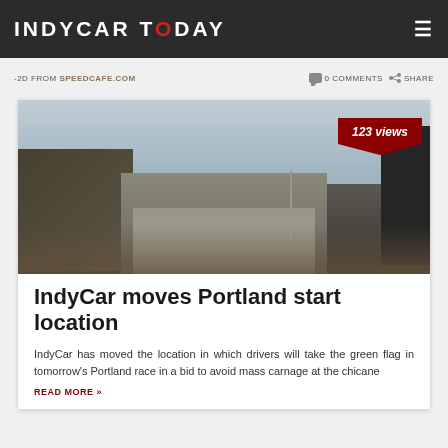INDYCAR TODAY
-2D FROM SPEEDCAFE.COM   0 COMMENTS   SHARE
[Figure (photo): Race track photo showing grandstands, pit structures, and crowd at Portland International Raceway under overcast skies. A red badge showing '123 views' appears in the top-right corner of the image.]
IndyCar moves Portland start location
IndyCar has moved the location in which drivers will take the green flag in tomorrow's Portland race in a bid to avoid mass carnage at the chicane
READ MORE »